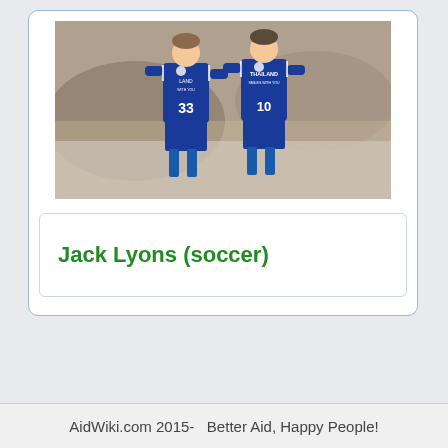[Figure (photo): Two Leicester City soccer players in blue Thailand-sponsored jerseys (numbers 33 and 10) standing on a football pitch]
Jack Lyons (soccer)
AidWiki.com 2015-   Better Aid, Happy People!